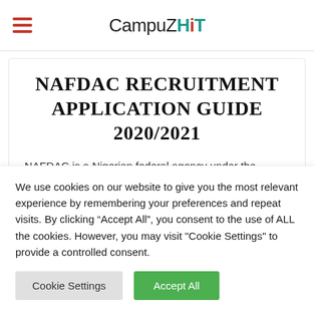CampuZHiT
NAFDAC RECRUITMENT APPLICATION GUIDE 2020/2021
NAFDAC is a Nigerian federal agency under the Federal Ministry of Health with responsibilities of regulating and controlling the manufacture, importation, exportation,
We use cookies on our website to give you the most relevant experience by remembering your preferences and repeat visits. By clicking “Accept All”, you consent to the use of ALL the cookies. However, you may visit "Cookie Settings" to provide a controlled consent.
Cookie Settings | Accept All